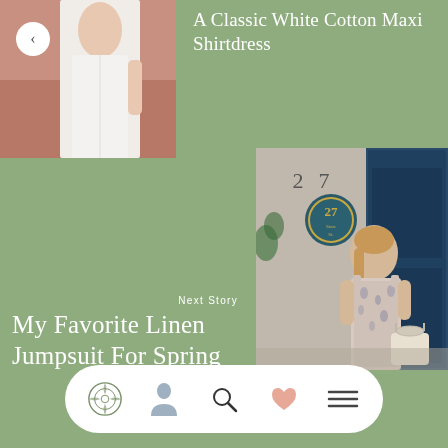[Figure (photo): Woman in white dress on pink background, partial view]
A Classic White Cotton Maxi Shirtdress
Next Story
My Favorite Linen Jumpsuit For Spring
[Figure (photo): Woman in floral/print linen jumpsuit standing outside a blue door numbered 27, holding a woven bag]
[Figure (other): Navigation bar with logo, user, search, heart, and menu icons]